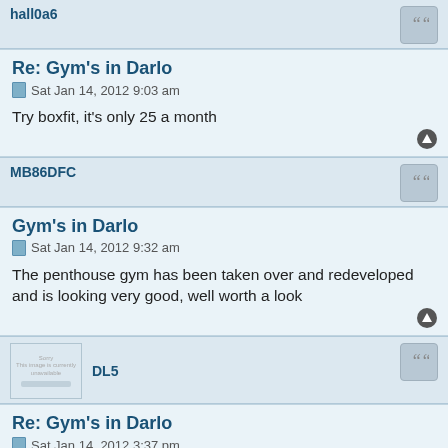hall0a6
Re: Gym's in Darlo
Sat Jan 14, 2012 9:03 am
Try boxfit, it's only 25 a month
MB86DFC
Gym's in Darlo
Sat Jan 14, 2012 9:32 am
The penthouse gym has been taken over and redeveloped and is looking very good, well worth a look
DL5
Re: Gym's in Darlo
Sat Jan 14, 2012 3:37 pm